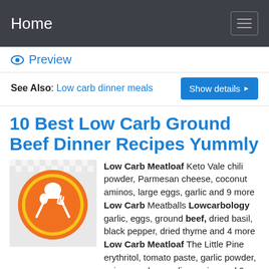Home
Preview
See Also: Low carb dinner meals   Show details
10 Best Low Carb Ground Beef Dinner Recipes Yummly
[Figure (illustration): Orange circular food/cooking icon with chef hat, spoon, and fork crossed]
Low Carb Meatloaf Keto Vale chili powder, Parmesan cheese, coconut aminos, large eggs, garlic and 9 more Low Carb Meatballs Lowcarbology garlic, eggs, ground beef, dried basil, black pepper, dried thyme and 4 more Low Carb Meatloaf The Little Pine erythritol, tomato paste, garlic powder, onion powder, medium onion and 9 more